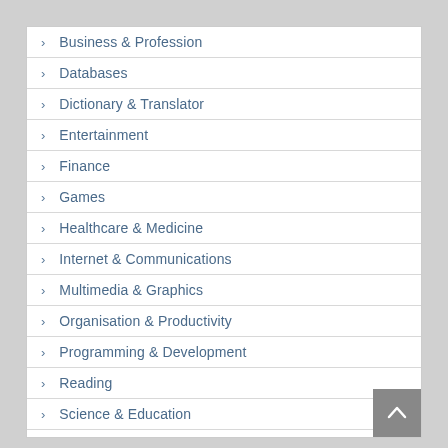Business & Profession
Databases
Dictionary & Translator
Entertainment
Finance
Games
Healthcare & Medicine
Internet & Communications
Multimedia & Graphics
Organisation & Productivity
Programming & Development
Reading
Science & Education